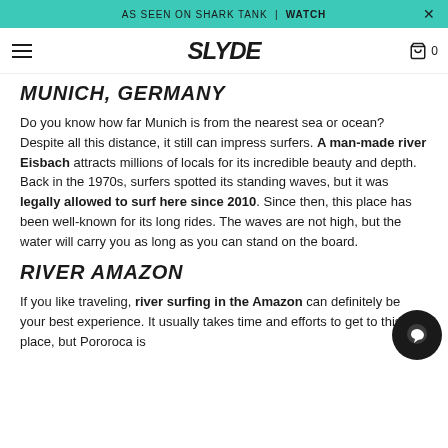AS SEEN ON SHARK TANK | WATCH
SLYDE
MUNICH, GERMANY
Do you know how far Munich is from the nearest sea or ocean? Despite all this distance, it still can impress surfers. A man-made river Eisbach attracts millions of locals for its incredible beauty and depth. Back in the 1970s, surfers spotted its standing waves, but it was legally allowed to surf here since 2010. Since then, this place has been well-known for its long rides. The waves are not high, but the water will carry you as long as you can stand on the board.
RIVER AMAZON
If you like traveling, river surfing in the Amazon can definitely be your best experience. It usually takes time and efforts to get to this place, but Pororoca is